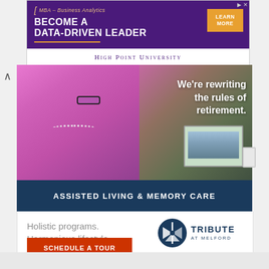[Figure (illustration): MBA Business Analytics advertisement for High Point University with purple background, showing 'BECOME A DATA-DRIVEN LEADER' text and orange LEARN MORE button]
[Figure (photo): Elderly woman in pink top wearing glasses and pearl necklace painting at an outdoor art table, with greenery in background]
We're rewriting the rules of retirement.
ASSISTED LIVING & MEMORY CARE
Holistic programs. Harmonious lifestyle.
SCHEDULE A TOUR
[Figure (logo): Tribute at Melford logo with circular icon in navy blue]